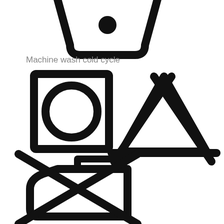[Figure (illustration): Laundry care symbols: a wash tub with one dot (machine wash cold cycle), a square with a circle inside (tumble dry), a triangle with X through it (do not bleach), and an iron with X through it (do not iron).]
Machine wash cold cycle